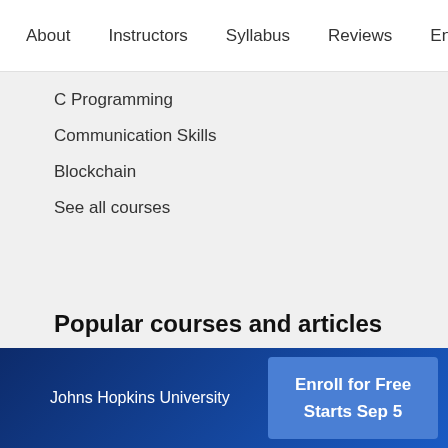About   Instructors   Syllabus   Reviews   Enrollment Opti
C Programming
Communication Skills
Blockchain
See all courses
Popular courses and articles
Skills for Data Science Teams
Johns Hopkins University   Enroll for Free Starts Sep 5